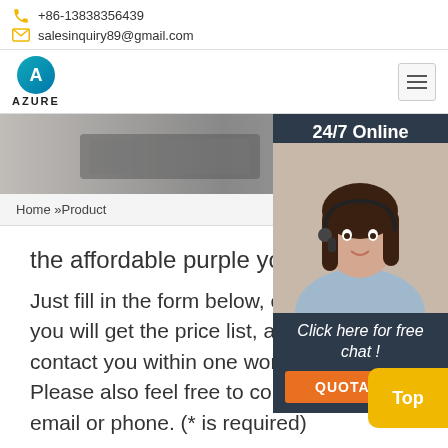+86-13838356439
salesinquiry89@gmail.com
[Figure (logo): Azure company logo with teal circle and letter A]
[Figure (photo): Hero banner showing person using tablet, with text CO...]
Home »Product
the affordable purple yoga mat
Just fill in the form below, click submit, you will get the price list, and we will contact you within one working day. Please also feel free to contact us via email or phone. (* is required)
[Figure (infographic): 24/7 Online chat widget with agent photo, 'Click here for free chat!' text, and QUOTATION button]
Top